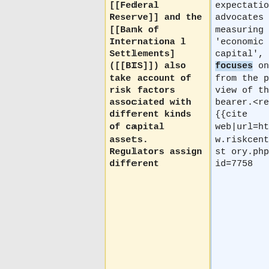[[Federal Reserve]] and the [[Bank of International Settlements] ([[BIS]]) also take account of risk factors associated with different kinds of capital assets. Regulators assign different
expectations by advocates of measuring 'economic capital', which focuses on risk from the point of view of the risk bearer.<ref>{{cite web|url=http://www.riskcenter.com/story.php?id=7758